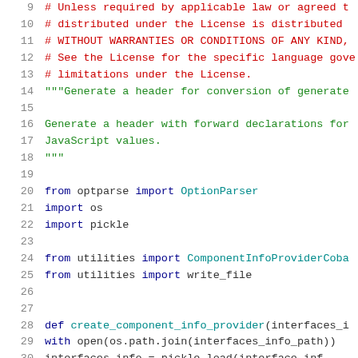Code listing showing Python source file lines 9-30, with syntax highlighting. Lines 9-13 are comments (red), lines 14-18 are docstring (green), lines 20-25 are import statements (blue/teal), lines 28-30 are function definition (blue/teal).